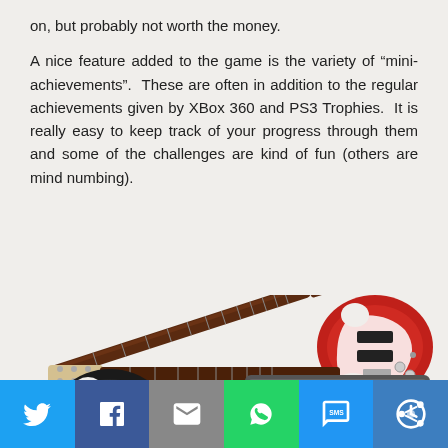on, but probably not worth the money.
A nice feature added to the game is the variety of “mini-achievements”.  These are often in addition to the regular achievements given by XBox 360 and PS3 Trophies.  It is really easy to keep track of your progress through them and some of the challenges are kind of fun (others are mind numbing).
[Figure (photo): Two electric guitars (one red, one black) and a keyboard/piano controller, displayed against a light background.]
Social share bar with Twitter, Facebook, Email, WhatsApp, SMS, and another share icon.